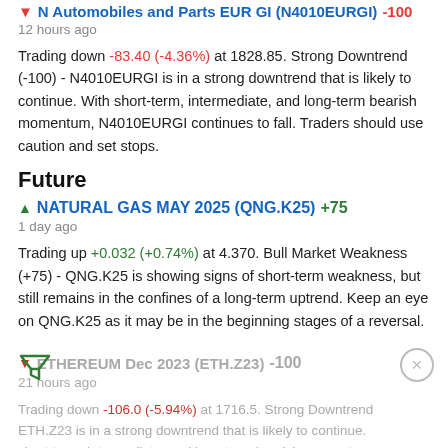N Automobiles and Parts EUR GI (N4010EURGI) -100
12 hours ago
Trading down -83.40 (-4.36%) at 1828.85. Strong Downtrend (-100) - N4010EURGI is in a strong downtrend that is likely to continue. With short-term, intermediate, and long-term bearish momentum, N4010EURGI continues to fall. Traders should use caution and set stops.
Future
NATURAL GAS MAY 2025 (QNG.K25) +75
1 day ago
Trading up +0.032 (+0.74%) at 4.370. Bull Market Weakness (+75) - QNG.K25 is showing signs of short-term weakness, but still remains in the confines of a long-term uptrend. Keep an eye on QNG.K25 as it may be in the beginning stages of a reversal.
ETHEREUM Dec 2023 (ETH.Z23) -100
21 hours ago
Trading down -106.0 (-5.94%) at 1716.5. Strong Downtrend - ETH.Z23 is in a strong downtrend that is likely to continue. short-term, intermediate, and long-term bearish momentum,